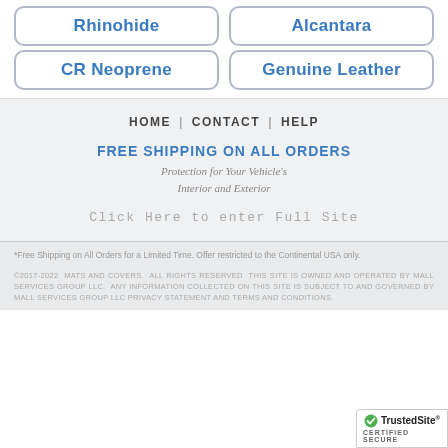Rhinohide
Alcantara
CR Neoprene
Genuine Leather
HOME | CONTACT | HELP
FREE SHIPPING ON ALL ORDERS
Protection for Your Vehicle's Interior and Exterior
Click Here to enter Full Site
*Free Shipping on All Orders for a Limited Time. Offer restricted to the Continental USA only.
©2017-2022 MATS AND COVERS. ALL RIGHTS RESERVED THIS SITE IS OWNED AND OPERATED BY MALL SERVICES GROUP LLC. ANY INFORMATION COLLECTED ON THIS SITE IS SUBJECT TO AND GOVERNED BY MALL SERVICES GROUP LLC PRIVACY STATEMENT AND TERMS AND CONDITIONS.
[Figure (logo): TrustedSite CERTIFIED SECURE badge]